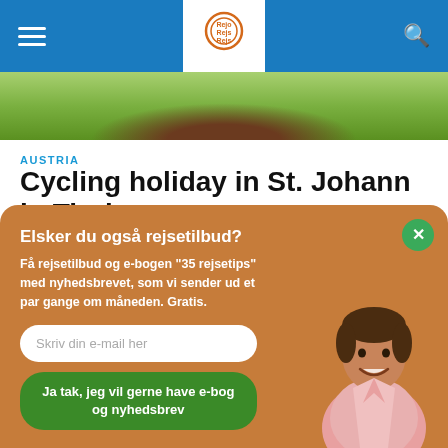RejoRejsRejs navigation header
[Figure (photo): Green outdoor landscape photo strip — cycling holiday scene]
AUSTRIA
Cycling holiday in St. Johann in Tirol
5. December 2019
[Figure (logo): POWERED BY SUMO badge with crown icon]
[Figure (infographic): Newsletter signup popup overlay with brown background. Title: Elsker du også rejsetilbud? Body: Få rejsetilbud og e-bogen "35 rejsetips" med nyhedsbrevet, som vi sender ud et par gange om måneden. Gratis. Input: Skriv din e-mail her. Button: Ja tak, jeg vil gerne have e-bog og nyhedsbrev. With photo of smiling man.]